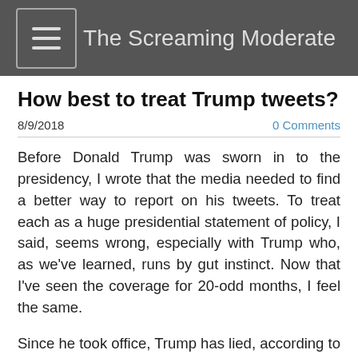The Screaming Moderate
How best to treat Trump tweets?
8/9/2018
0 Comments
Before Donald Trump was sworn in to the presidency, I wrote that the media needed to find a better way to report on his tweets. To treat each as a huge presidential statement of policy, I said, seems wrong, especially with Trump who, as we’ve learned, runs by gut instinct. Now that I’ve seen the coverage for 20-odd months, I feel the same.
Since he took office, Trump has lied, according to The Washington Post, more than 7,000 times, many in his tweets. Since he took office we heard his former press secretary Sean Spicer announce